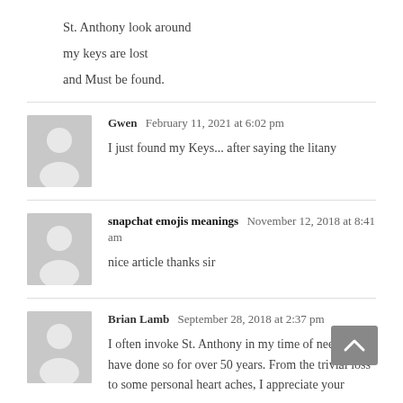St. Anthony look around
my keys are lost
and Must be found.
Gwen  February 11, 2021 at 6:02 pm
I just found my Keys... after saying the litany
snapchat emojis meanings  November 12, 2018 at 8:41 am
nice article thanks sir
Brian Lamb  September 28, 2018 at 2:37 pm
I often invoke St. Anthony in my time of need and have done so for over 50 years. From the trivial loss to some personal heart aches, I appreciate your